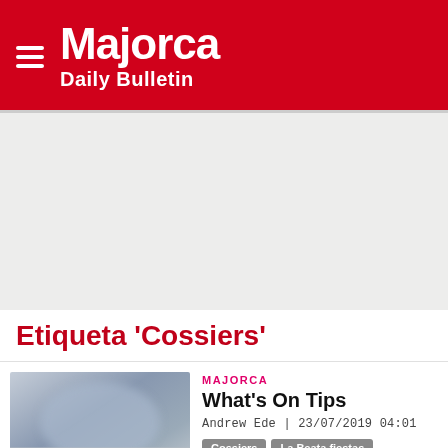Majorca Daily Bulletin
[Figure (other): Gray advertisement placeholder area]
Etiqueta 'Cossiers'
[Figure (photo): Blurred outdoor photo with blue-gray tones, thumbnail for the article]
MAJORCA
What's On Tips
Andrew Ede | 23/07/2019 04:01
Cossiers
La Beata fiestas
Maceo Parker
Mary Lee's Corvette